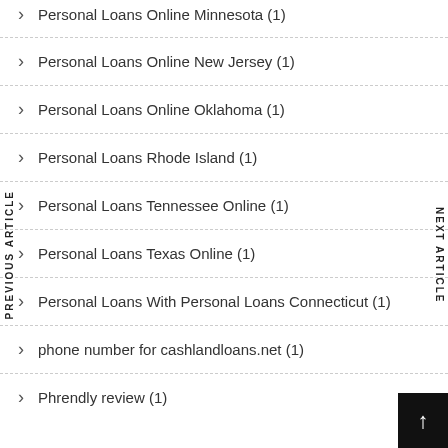Personal Loans Online Minnesota (1)
Personal Loans Online New Jersey (1)
Personal Loans Online Oklahoma (1)
Personal Loans Rhode Island (1)
Personal Loans Tennessee Online (1)
Personal Loans Texas Online (1)
Personal Loans With Personal Loans Connecticut (1)
phone number for cashlandloans.net (1)
Phrendly review (1)